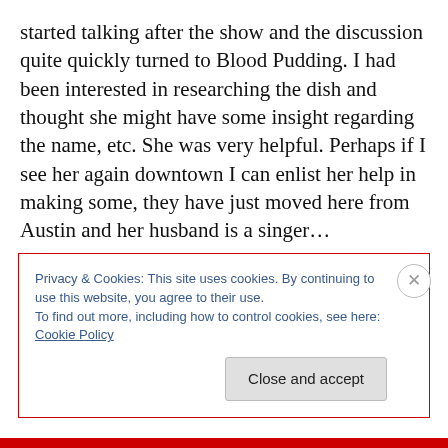started talking after the show and the discussion quite quickly turned to Blood Pudding. I had been interested in researching the dish and thought she might have some insight regarding the name, etc. She was very helpful. Perhaps if I see her again downtown I can enlist her help in making some, they have just moved here from Austin and her husband is a singer…
Nothing around here is always either black or white. Parenting, cooking, animals – except maybe today when it comes to sausage and newborn piglets… Thank goodness
Privacy & Cookies: This site uses cookies. By continuing to use this website, you agree to their use.
To find out more, including how to control cookies, see here: Cookie Policy